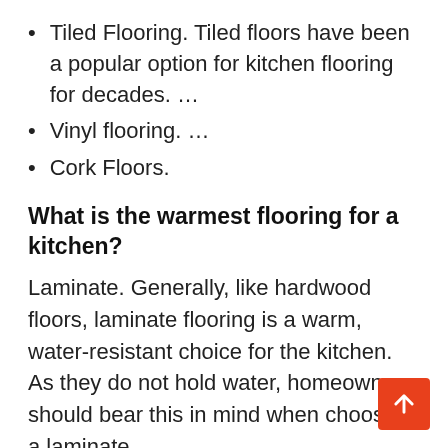Tiled Flooring. Tiled floors have been a popular option for kitchen flooring for decades. …
Vinyl flooring. …
Cork Floors.
What is the warmest flooring for a kitchen?
Laminate. Generally, like hardwood floors, laminate flooring is a warm, water-resistant choice for the kitchen. As they do not hold water, homeowners should bear this in mind when choosing a laminate.
Which flooring is best for cold weather?